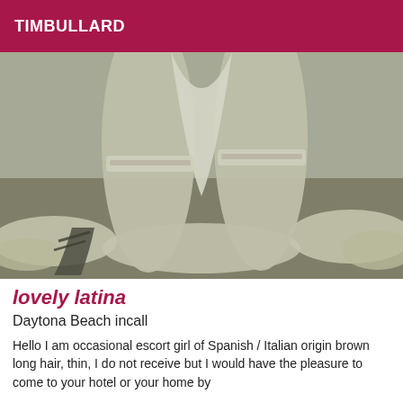TIMBULLARD
[Figure (photo): Black and white / sepia-toned photograph showing a woman in lingerie with white stockings and feather boa, viewed from a low angle.]
lovely latina
Daytona Beach incall
Hello I am occasional escort girl of Spanish / Italian origin brown long hair, thin, I do not receive but I would have the pleasure to come to your hotel or your home by